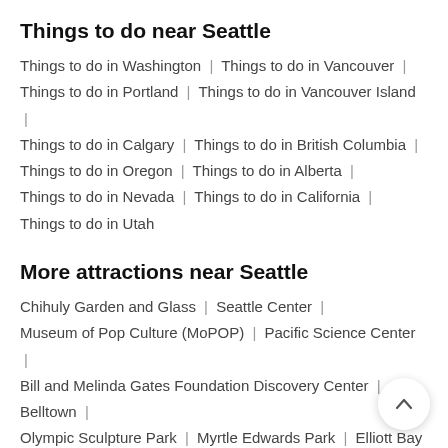Things to do near Seattle
Things to do in Washington | Things to do in Vancouver |
Things to do in Portland | Things to do in Vancouver Island |
Things to do in Calgary | Things to do in British Columbia |
Things to do in Oregon | Things to do in Alberta |
Things to do in Nevada | Things to do in California |
Things to do in Utah
More attractions near Seattle
Chihuly Garden and Glass | Seattle Center |
Museum of Pop Culture (MoPOP) | Pacific Science Center |
Bill and Melinda Gates Foundation Discovery Center | Belltown |
Olympic Sculpture Park | Myrtle Edwards Park | Elliott Bay |
Seattle Cruise Port | Kerry Park (Franklin Place) | Queen Anne |
Original Starbucks | Hard Rock Cafe Seattle | Seattle Aquarium